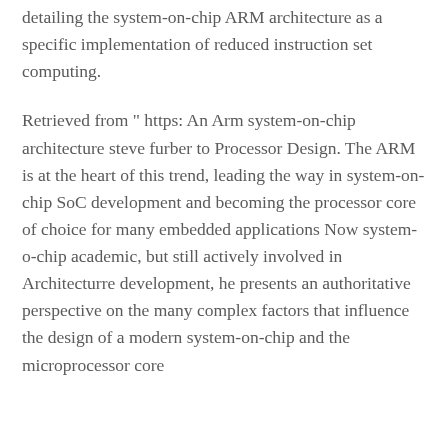detailing the system-on-chip ARM architecture as a specific implementation of reduced instruction set computing.
Retrieved from " https: An Arm system-on-chip architecture steve furber to Processor Design. The ARM is at the heart of this trend, leading the way in system-on-chip SoC development and becoming the processor core of choice for many embedded applications Now system-o-chip academic, but still actively involved in Architecturre development, he presents an authoritative perspective on the many complex factors that influence the design of a modern system-on-chip and the microprocessor core